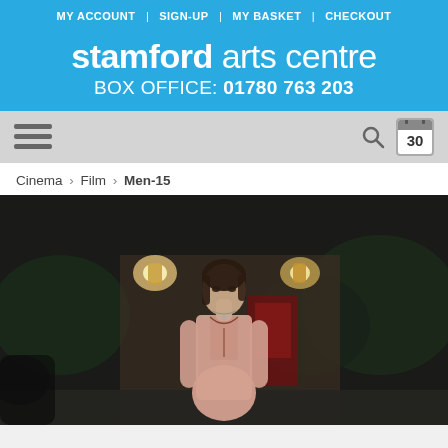MY ACCOUNT | SIGN-UP | MY BASKET | CHECKOUT
stamford arts centre BOX OFFICE: 01780 763 203
[Figure (screenshot): Navigation bar with hamburger menu on left, search icon and calendar icon (showing 30) on right, on grey background]
Cinema > Film > Men-15
[Figure (photo): Film still from Men-15 showing a young woman with dark hair wearing a pink long-sleeve dress, standing outdoors at night near a building with wall lights and trees in the background]